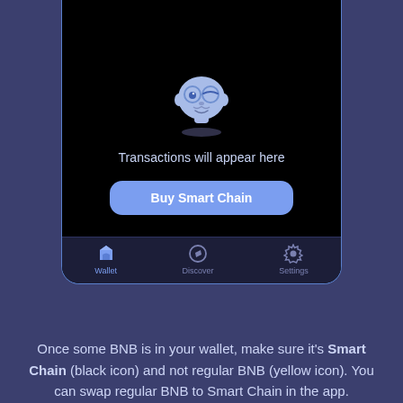[Figure (screenshot): Mobile app screenshot showing a dark-themed crypto wallet app. A cartoon mascot (ghost-like character with glasses) is at the top, followed by 'Transactions will appear here' text, a 'Buy Smart Chain' button, and a bottom tab bar with Wallet (active, highlighted), Discover, and Settings tabs.]
Once some BNB is in your wallet, make sure it's Smart Chain (black icon) and not regular BNB (yellow icon). You can swap regular BNB to Smart Chain in the app.